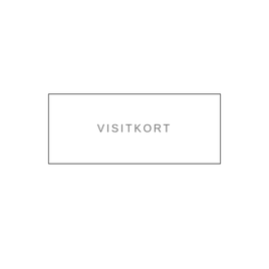[Figure (other): A rectangular bordered box centered on the page containing the text 'VISITKORT' in light gray, thin, widely-spaced capital letters]